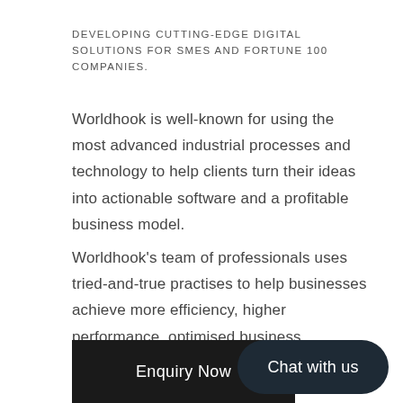DEVELOPING CUTTING-EDGE DIGITAL SOLUTIONS FOR SMES AND FORTUNE 100 COMPANIES.
Worldhook is well-known for using the most advanced industrial processes and technology to help clients turn their ideas into actionable software and a profitable business model.
Worldhook's team of professionals uses tried-and-true practises to help businesses achieve more efficiency, higher performance, optimised business processes, and business excellence.
Enquiry Now
Chat with us